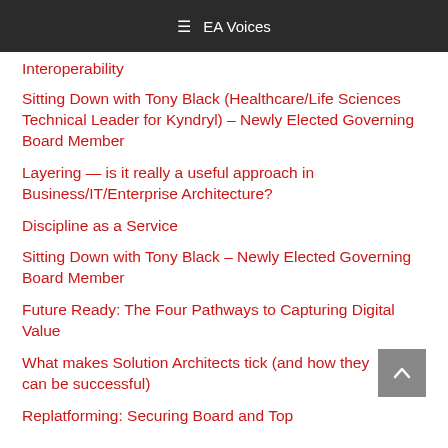≡ EA Voices
Interoperability
Sitting Down with Tony Black (Healthcare/Life Sciences Technical Leader for Kyndryl) – Newly Elected Governing Board Member
Layering — is it really a useful approach in Business/IT/Enterprise Architecture?
Discipline as a Service
Sitting Down with Tony Black – Newly Elected Governing Board Member
Future Ready: The Four Pathways to Capturing Digital Value
What makes Solution Architects tick (and how they can be successful)
Replatforming: Securing Board and Top